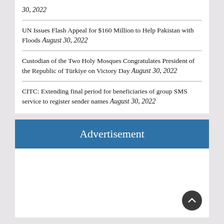30, 2022
UN Issues Flash Appeal for $160 Million to Help Pakistan with Floods August 30, 2022
Custodian of the Two Holy Mosques Congratulates President of the Republic of Türkiye on Victory Day August 30, 2022
CITC: Extending final period for beneficiaries of group SMS service to register sender names August 30, 2022
Advertisement